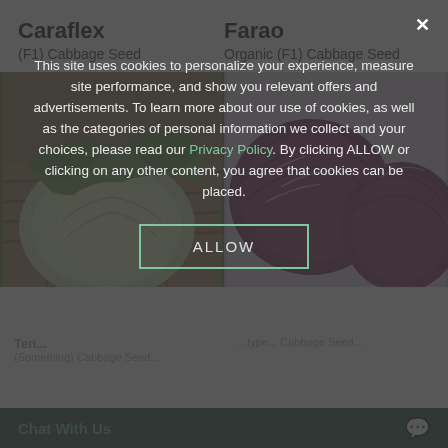Caraflex
(F1) Cabbage Seed
Farao
Organic (F1) Cabbage Seed
[Figure (photo): Green cabbage heads in a wicker basket]
[Figure (photo): Red/purple cabbage heads on a light surface]
This site uses cookies to personalize your experience, measure site performance, and show you relevant offers and advertisements. To learn more about our use of cookies, as well as the categories of personal information we collect and your choices, please read our Privacy Policy. By clicking ALLOW or clicking on any other content, you agree that cookies can be placed.
ALLOW
Chat With Us